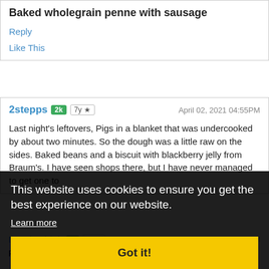Baked wholegrain penne with sausage
Reply
Like This
2stepps  2k  7y ★  April 02, 2021 04:55PM
Last night's leftovers, Pigs in a blanket that was undercooked by about two minutes. So the dough was a little raw on the sides. Baked beans and a biscuit with blackberry jelly from Braum's. I have seen shops there, but I have never managed to get one to
This website uses cookies to ensure you get the best experience on our website.
Learn more
Got it!
Rainy, cold day today. All we did was nest and eat.